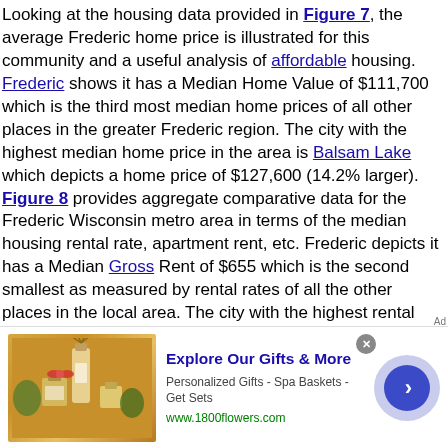Looking at the housing data provided in Figure 7, the average Frederic home price is illustrated for this community and a useful analysis of affordable housing. Frederic shows it has a Median Home Value of $111,700 which is the third most median home prices of all other places in the greater Frederic region. The city with the highest median home price in the area is Balsam Lake which depicts a home price of $127,600 (14.2% larger). Figure 8 provides aggregate comparative data for the Frederic Wisconsin metro area in terms of the median housing rental rate, apartment rent, etc. Frederic depicts it has a Median Gross Rent of $655 which is the second smallest as measured by rental rates of all the other places in the local area. The city with the highest rental rates in the area is Lewis CDP which depicts a rental rates of $950 (45.0% larger). Comparing rental rates to the United States average of $1,006.
[Figure (other): Advertisement banner for 1800flowers.com showing gift products - Explore Our Gifts & More. Personalized Gifts - Spa Baskets - Get Sets. www.1800flowers.com. Shows spa/gift product image on left and navigation arrow button on right.]